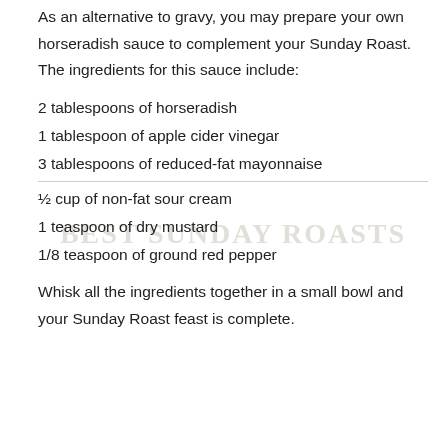As an alternative to gravy, you may prepare your own horseradish sauce to complement your Sunday Roast. The ingredients for this sauce include:
2 tablespoons of horseradish
1 tablespoon of apple cider vinegar
3 tablespoons of reduced-fat mayonnaise
½ cup of non-fat sour cream
1 teaspoon of dry mustard
1/8 teaspoon of ground red pepper
Whisk all the ingredients together in a small bowl and your Sunday Roast feast is complete.